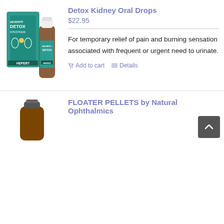[Figure (photo): Hevert Detox Kidney Oral Drops product image showing a teal box and amber glass dropper bottle]
Detox Kidney Oral Drops
$22.95
For temporary relief of pain and burning sensation associated with frequent or urgent need to urinate.
Add to cart   Details
[Figure (photo): FLOATER PELLETS by Natural Ophthalmics product image showing a small amber bottle]
FLOATER PELLETS by Natural Ophthalmics